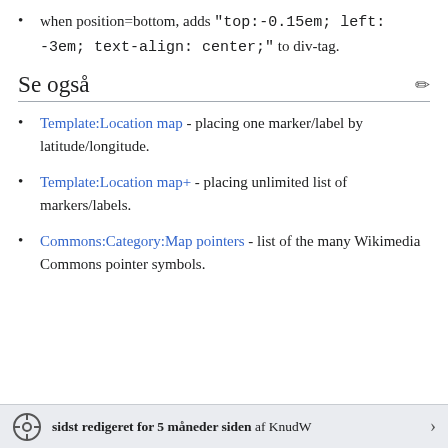when position=bottom, adds "top:-0.15em; left: -3em; text-align: center;" to div-tag.
Se også
Template:Location map - placing one marker/label by latitude/longitude.
Template:Location map+ - placing unlimited list of markers/labels.
Commons:Category:Map pointers - list of the many Wikimedia Commons pointer symbols.
sidst redigeret for 5 måneder siden af KnudW